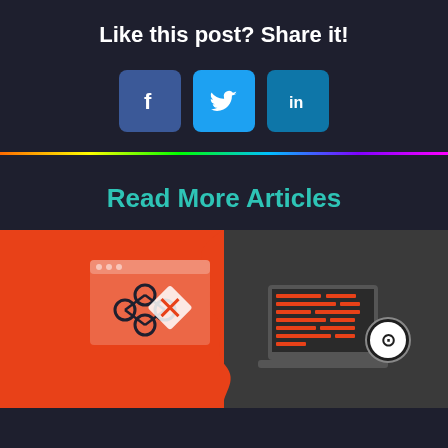Like this post? Share it!
[Figure (infographic): Three social media share buttons: Facebook (dark blue), Twitter (light blue), LinkedIn (cyan blue)]
Read More Articles
[Figure (illustration): Article thumbnail showing Git/version control on orange background on left side and a laptop with GitHub logo on dark gray background on right side]